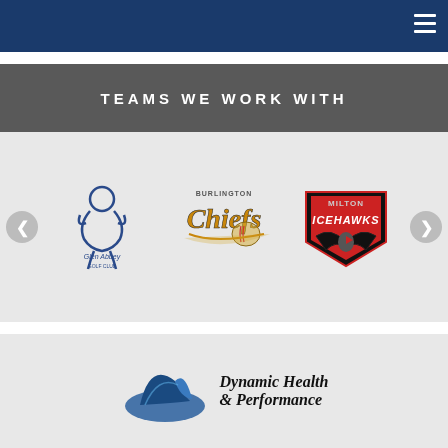Navigation bar with hamburger menu
TEAMS WE WORK WITH
[Figure (logo): Glen Abbey Golf Club logo - blue line drawing of a figure with Glen Abbey Golf Club text below]
[Figure (logo): Burlington Chiefs baseball team logo - orange and black text with baseball imagery]
[Figure (logo): Milton IceHawks hockey team logo - red hawk with ICEHAWKS text on black and red shield]
[Figure (logo): Dynamic Health & Performance logo - blue shark fin shape with company name text]